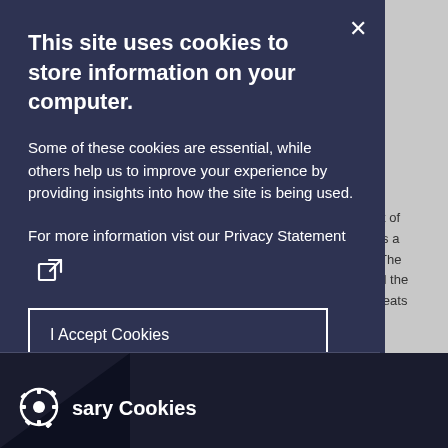This site uses cookies to store information on your computer.
Some of these cookies are essential, while others help us to improve your experience by providing insights into how the site is being used.
For more information vist our Privacy Statement [external link icon]
I Accept Cookies
I Do Not Accept Cookies
sary Cookies